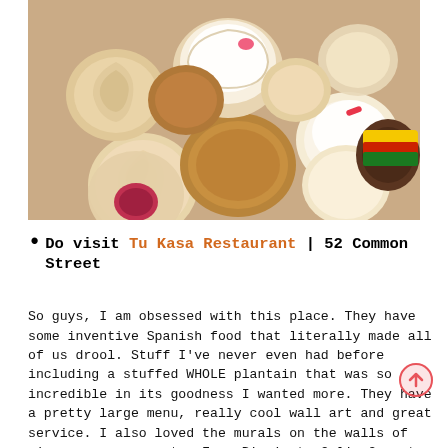[Figure (photo): An overhead photo of a variety of assorted cookies and pastries arranged in a paper bag, including swirled butter cookies, sugar-dusted cookies, cream-topped cookies, jam cookies, and other baked goods.]
Do visit Tu Kasa Restaurant | 52 Common Street
So guys, I am obsessed with this place. They have some inventive Spanish food that literally made all of us drool. Stuff I've never even had before including a stuffed WHOLE plantain that was so incredible in its goodness I wanted more. They have a pretty large menu, really cool wall art and great service. I also loved the murals on the walls of singers, rappers etc. From Biggie to Celia Cruz to Cardi B 🙂 They are a brand new place- so go support!